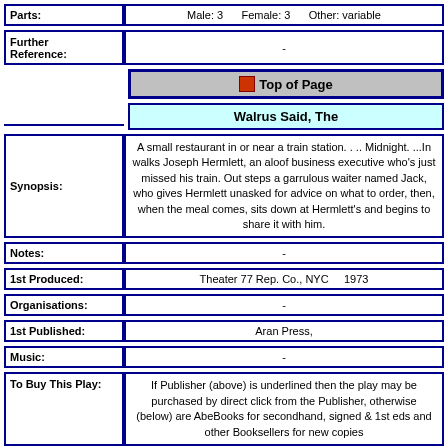| Field | Value |
| --- | --- |
| Parts: | Male: 3   Female: 3   Other: variable |
| Further Reference: | - |
| (Top of Page button) | Top of Page |
| (Title) | Walrus Said, The |
| Synopsis: | A small restaurant in or near a train station. . .. Midnight. ...In walks Joseph Hermlett, an aloof business executive who's just missed his train. Out steps a garrulous waiter named Jack, who gives Hermlett unasked for advice on what to order, then, when the meal comes, sits down at Hermlett's and begins to share it with him. |
| Notes: | - |
| 1st Produced: | Theater 77 Rep. Co., NYC    1973 |
| Organisations: | - |
| 1st Published: | Aran Press, |
| Music: | - |
| To Buy This Play: | If Publisher (above) is underlined then the play may be purchased by direct click from the Publisher, otherwise (below) are AbeBooks for secondhand, signed & 1st eds and other Booksellers for new copies |
| Booksellers: | abebooks.com   abebooks.co.uk   stageplays.com   amazon.com   amazon.co.uk   am... |
| Genre: | One Act |
| Parts: | Male: 2   Female: -   Other: - |